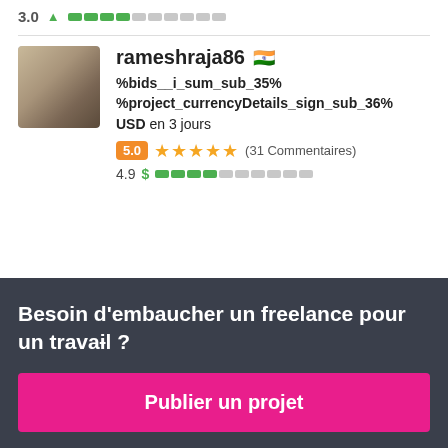3.0 [green bar partial]
[Figure (other): User profile photo of rameshraja86, male headshot]
rameshraja86 🇮🇳
%bids__i_sum_sub_35% %project_currencyDetails_sign_sub_36% USD en 3 jours
5.0 ★★★★★ (31 Commentaires)
4.9 $ [green bar partial]
Besoin d'embaucher un freelance pour un travail ?
Publier un projet